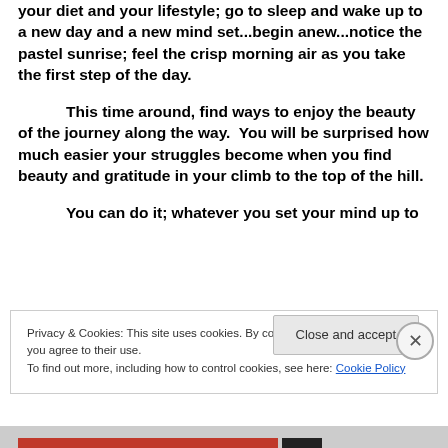your diet and your lifestyle; go to sleep and wake up to a new day and a new mind set...begin anew...notice the pastel sunrise; feel the crisp morning air as you take the first step of the day.
This time around, find ways to enjoy the beauty of the journey along the way.  You will be surprised how much easier your struggles become when you find beauty and gratitude in your climb to the top of the hill.
You can do it; whatever you set your mind up to
Privacy & Cookies: This site uses cookies. By continuing to use this website, you agree to their use.
To find out more, including how to control cookies, see here: Cookie Policy